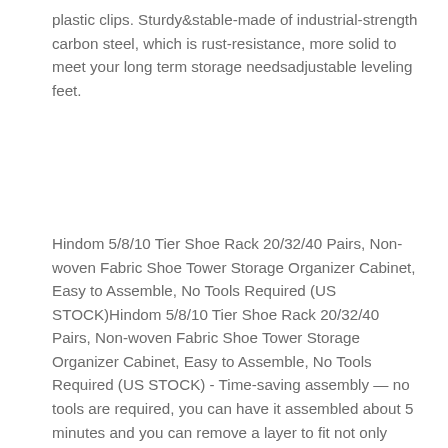plastic clips. Sturdy&stable-made of industrial-strength carbon steel, which is rust-resistance, more solid to meet your long term storage needsadjustable leveling feet.
Hindom 5/8/10 Tier Shoe Rack 20/32/40 Pairs, Non-woven Fabric Shoe Tower Storage Organizer Cabinet, Easy to Assemble, No Tools Required (US STOCK)Hindom 5/8/10 Tier Shoe Rack 20/32/40 Pairs, Non-woven Fabric Shoe Tower Storage Organizer Cabinet, Easy to Assemble, No Tools Required (US STOCK) - Time-saving assembly — no tools are required, you can have it assembled about 5 minutes and you can remove a layer to fit not only boots, high heels, but also fit purses or